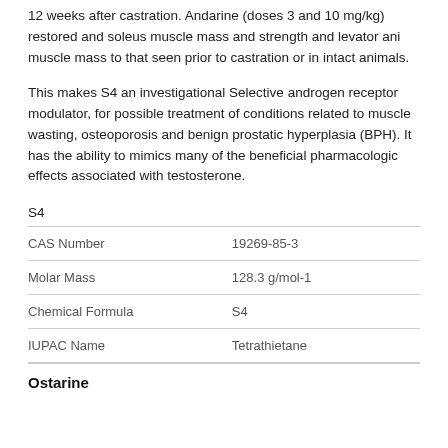12 weeks after castration. Andarine (doses 3 and 10 mg/kg) restored and soleus muscle mass and strength and levator ani muscle mass to that seen prior to castration or in intact animals.
This makes S4 an investigational Selective androgen receptor modulator, for possible treatment of conditions related to muscle wasting, osteoporosis and benign prostatic hyperplasia (BPH). It has the ability to mimics many of the beneficial pharmacologic effects associated with testosterone.
|  |  |
| --- | --- |
| CAS Number | 19269-85-3 |
| Molar Mass | 128.3 g/mol-1 |
| Chemical Formula | S4 |
| IUPAC Name | Tetrathietane |
Ostarine